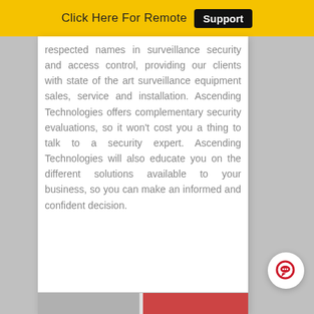Click Here For Remote Support
respected names in surveillance security and access control, providing our clients with state of the art surveillance equipment sales, service and installation. Ascending Technologies offers complementary security evaluations, so it won't cost you a thing to talk to a security expert. Ascending Technologies will also educate you on the different solutions available to your business, so you can make an informed and confident decision.
[Figure (screenshot): Partial view of an image or banner at the bottom of the page]